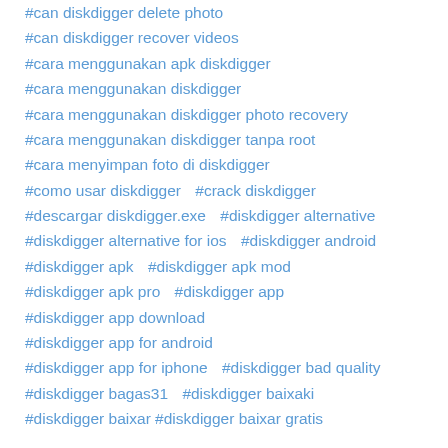#can diskdigger delete photo
#can diskdigger recover videos
#cara menggunakan apk diskdigger
#cara menggunakan diskdigger
#cara menggunakan diskdigger photo recovery
#cara menggunakan diskdigger tanpa root
#cara menyimpan foto di diskdigger
#como usar diskdigger   #crack diskdigger
#descargar diskdigger.exe   #diskdigger alternative
#diskdigger alternative for ios   #diskdigger android
#diskdigger apk   #diskdigger apk mod
#diskdigger apk pro   #diskdigger app
#diskdigger app download
#diskdigger app for android
#diskdigger app for iphone   #diskdigger bad quality
#diskdigger bagas31   #diskdigger baixaki
#diskdigger baixar   #diskdigger baixar gratis